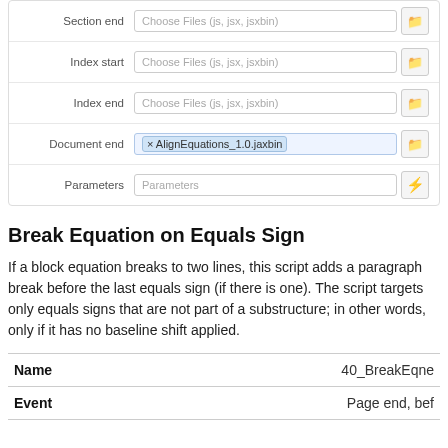| Label | Value |
| --- | --- |
| Section end | Choose Files (js, jsx, jsxbin) |
| Index start | Choose Files (js, jsx, jsxbin) |
| Index end | Choose Files (js, jsx, jsxbin) |
| Document end | × AlignEquations_1.0.jaxbin |
| Parameters | Parameters |
Break Equation on Equals Sign
If a block equation breaks to two lines, this script adds a paragraph break before the last equals sign (if there is one). The script targets only equals signs that are not part of a substructure; in other words, only if it has no baseline shift applied.
| Name | 40_BreakEqn... |
| --- | --- |
| Event | Page end, bef... |